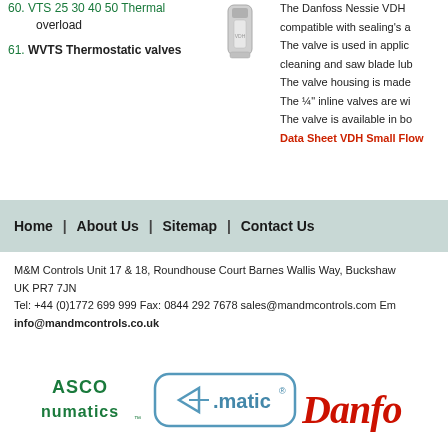60. Thermal overload
61. WVTS Thermostatic valves
[Figure (photo): Small cylindrical valve component thumbnail image]
The Danfoss Nessie VDH compatible with sealing's a The valve is used in applic cleaning and saw blade lub The valve housing is made The ¼" inline valves are wi The valve is available in bo Data Sheet VDH Small Flow
Home | About Us | Sitemap | Contact Us
M&M Controls Unit 17 & 18, Roundhouse Court Barnes Wallis Way, Buckshaws UK PR7 7JN Tel: +44 (0)1772 699 999 Fax: 0844 292 7678 sales@mandmcontrols.com Em info@mandmcontrols.co.uk
[Figure (logo): ASCO Numatics logo in green]
[Figure (logo): e.matic logo with rounded rectangle border]
[Figure (logo): Danfoss logo in red script, partially visible]